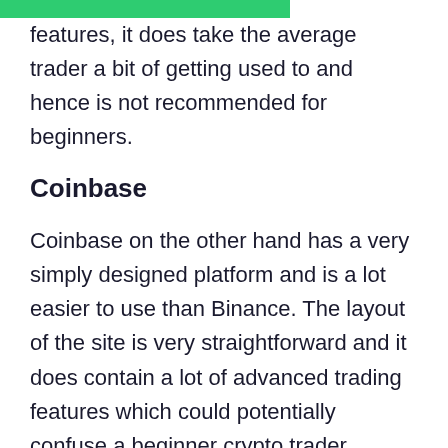features, it does take the average trader a bit of getting used to and hence is not recommended for beginners.
Coinbase
Coinbase on the other hand has a very simply designed platform and is a lot easier to use than Binance. The layout of the site is very straightforward and it does contain a lot of advanced trading features which could potentially confuse a beginner crypto trader.
While Coinbase is without a doubt much more user-friendly and straightforward to use than Binance, Coinbase Pro also has advanced...